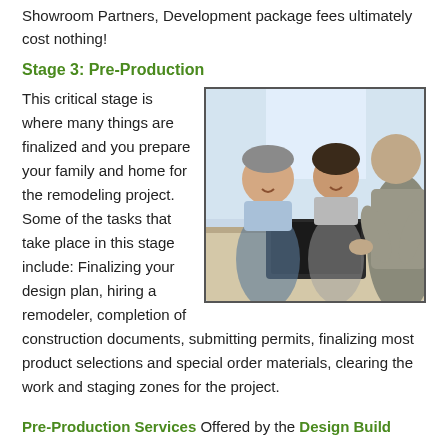Showroom Partners, Development package fees ultimately cost nothing!
Stage 3: Pre-Production
This critical stage is where many things are finalized and you prepare your family and home for the remodeling project. Some of the tasks that take place in this stage include: Finalizing your design plan, hiring a remodeler, completion of construction documents, submitting permits, finalizing most product selections and special order materials, clearing the work and staging zones for the project.
[Figure (photo): Photo of two people (a man and a woman) sitting across a table from an advisor or consultant, appearing to review documents together in a bright office or showroom setting.]
Pre-Production Services Offered by the Design Build